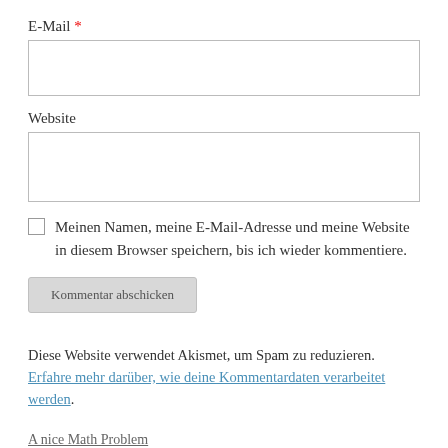E-Mail *
Website
Meinen Namen, meine E-Mail-Adresse und meine Website in diesem Browser speichern, bis ich wieder kommentiere.
Kommentar abschicken
Diese Website verwendet Akismet, um Spam zu reduzieren. Erfahre mehr darüber, wie deine Kommentardaten verarbeitet werden.
A nice Math Problem
Retired